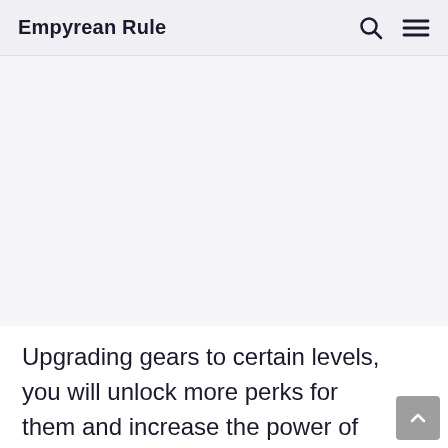Empyrean Rule
[Figure (other): Advertisement/blank area below navigation header]
Upgrading gears to certain levels, you will unlock more perks for them and increase the power of the